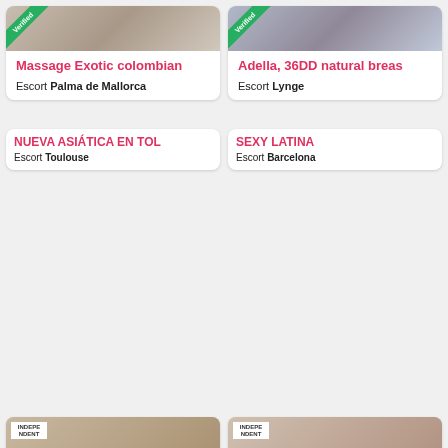[Figure (photo): Top-left escort listing card with photo strip and text: Massage Exotic colombian, Escort Palma de Mallorca]
[Figure (photo): Top-right escort listing card with photo strip and text: Adella, 36DD natural breas[ts], Escort Lynge]
[Figure (photo): Middle-left escort listing card: NUEVA ASIÁTICA EN TOL[ouse], Escort Toulouse, VIP badge, Verified badge, INDEPENDENT badge, photo of Asian woman]
[Figure (photo): Middle-right escort listing card: SEXY LATINA, Escort Barcelona, VIP badge, Verified badge, INDEPENDENT badge, photo of Latina woman]
[Figure (photo): Bottom-left partial escort listing card with INDEPENDENT badge]
[Figure (photo): Bottom-right partial escort listing card with INDEPENDENT badge]